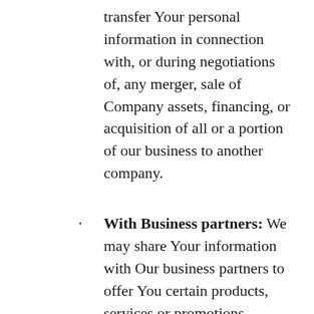transfer Your personal information in connection with, or during negotiations of, any merger, sale of Company assets, financing, or acquisition of all or a portion of our business to another company.
With Business partners: We may share Your information with Our business partners to offer You certain products, services or promotions.
With other users: when You share personal information or otherwise interact in the public areas with other users, such information may be viewed by all users and may be publicly distributed outside. If You interact with other users or register through a Third-Party Social Media Service, Your